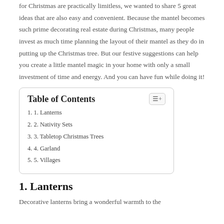for Christmas are practically limitless, we wanted to share 5 great ideas that are also easy and convenient. Because the mantel becomes such prime decorating real estate during Christmas, many people invest as much time planning the layout of their mantel as they do in putting up the Christmas tree. But our festive suggestions can help you create a little mantel magic in your home with only a small investment of time and energy. And you can have fun while doing it!
| 1. 1. Lanterns |
| 2. 2. Nativity Sets |
| 3. 3. Tabletop Christmas Trees |
| 4. 4. Garland |
| 5. 5. Villages |
1. Lanterns
Decorative lanterns bring a wonderful warmth to the